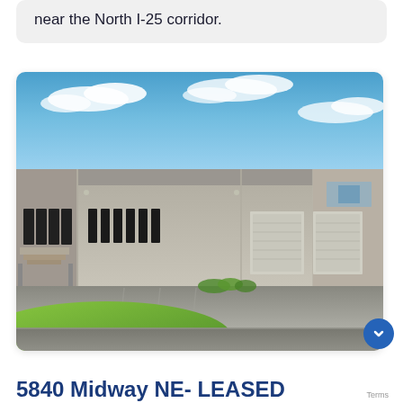near the North I-25 corridor.
[Figure (photo): Exterior photo of a large industrial/commercial warehouse building with tan/beige concrete facade, multiple windows, garage doors, staircase on left, blue sky with clouds, green grass in foreground, parking lot area.]
5840 Midway NE- LEASED